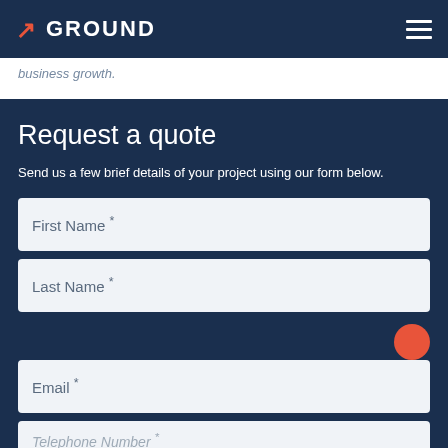GROUND
business growth.
Request a quote
Send us a few brief details of your project using our form below.
First Name *
Last Name *
Email *
Telephone Number *